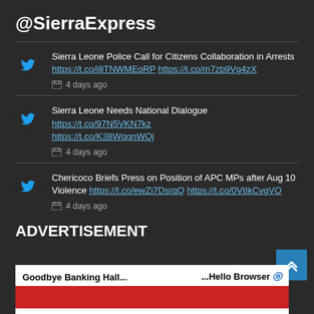@SierraExpress
Sierra Leone Police Call for Citizens Collaboration in Arrests https://t.co/i8TNWMEoRP https://t.co/m7zb9Vg4zX 4 days ago
Sierra Leone Needs National Dialogue https://t.co/97N5VKN7kz https://t.co/K38WqqnWQj 4 days ago
Chericoco Briefs Press on Position of APC MPs after Aug 10 Violence https://t.co/ewZi7DsrqQ https://t.co/0VtIkCvgVO 4 days ago
ADVERTISEMENT
[Figure (screenshot): Advertisement banner showing 'Goodbye Banking Hall... ...Hello Browser' with Internet Explorer logo and red decorative bar]